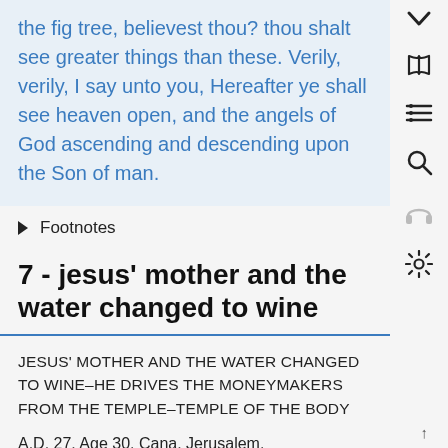the fig tree, believest thou? thou shalt see greater things than these. Verily, verily, I say unto you, Hereafter ye shall see heaven open, and the angels of God ascending and descending upon the Son of man.
▶ Footnotes
7 - jesus' mother and the water changed to wine
JESUS' MOTHER AND THE WATER CHANGED TO WINE–HE DRIVES THE MONEYMAKERS FROM THE TEMPLE–TEMPLE OF THE BODY
A.D. 27. Age 30. Cana. Jerusalem.
John 2, 1-9; 12-16; 18-21.